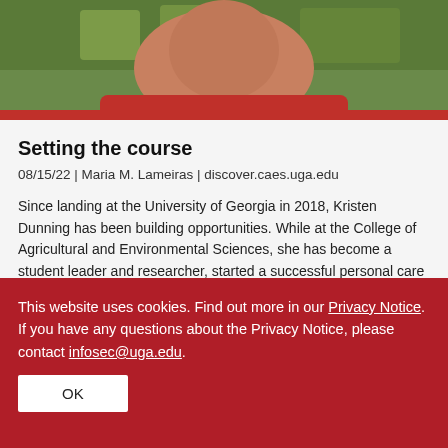[Figure (photo): Partial photo of a person wearing a red top with green foliage in the background, cropped at the top of the page.]
Setting the course
08/15/22 | Maria M. Lameiras | discover.caes.uga.edu
Since landing at the University of Georgia in 2018, Kristen Dunning has been building opportunities. While at the College of Agricultural and Environmental Sciences, she has become a student leader and researcher, started a successful personal care products business, and developed an idea to make the industry she loves more transparent in its history and more equitable in its future.
This website uses cookies. Find out more in our Privacy Notice. If you have any questions about the Privacy Notice, please contact infosec@uga.edu.
OK